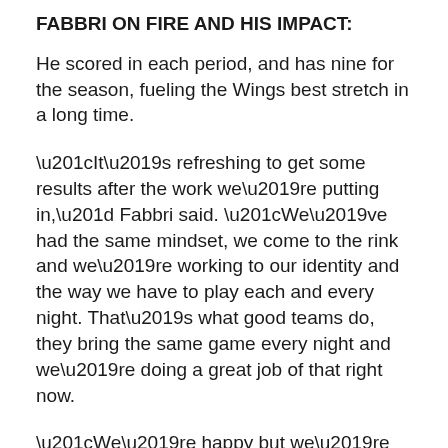FABBRI ON FIRE AND HIS IMPACT:
He scored in each period, and has nine for the season, fueling the Wings best stretch in a long time.
“It’s refreshing to get some results after the work we’re putting in,” Fabbri said. “We’ve had the same mindset, we come to the rink and we’re working to our identity and the way we have to play each and every night. That’s what good teams do, they bring the same game every night and we’re doing a great job of that right now.
“We’re happy but we’re not satisfied. There’s still a long road to go here and we’re definitely on the right track.”
The winning breeds confidence, Blashill said.
“It’s the…